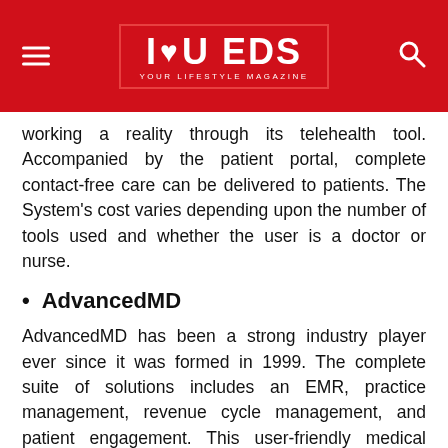I ♥ U EDS — YOUR LIFESTYLE MAGAZINE
working a reality through its telehealth tool. Accompanied by the patient portal, complete contact-free care can be delivered to patients. The System's cost varies depending upon the number of tools used and whether the user is a doctor or nurse.
AdvancedMD
AdvancedMD has been a strong industry player ever since it was formed in 1999. The complete suite of solutions includes an EMR, practice management, revenue cycle management, and patient engagement. This user-friendly medical software is sustainable in both the short-term and long-term since there are no